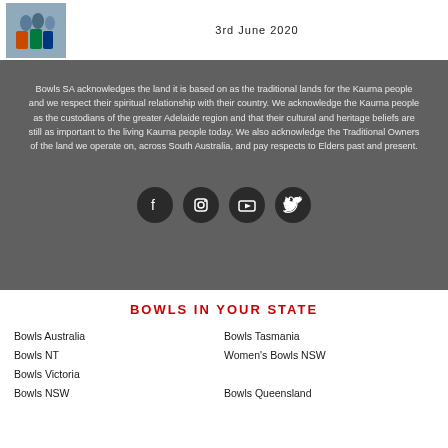[Figure (photo): Group photo of people in sports uniforms]
3rd June 2020
Bowls SA acknowledges the land it is based on as the traditional lands for the Kaurna people and we respect their spiritual relationship with their country. We acknowledge the Kaurna people as the custodians of the greater Adelaide region and that their cultural and heritage beliefs are still as important to the living Kaurna people today. We also acknowledge the Traditional Owners of the land we operate on, across South Australia, and pay respects to Elders past and present.
[Figure (illustration): Social media icons: Facebook, Instagram, YouTube, Twitter]
BOWLS IN YOUR STATE
Bowls Australia
Bowls Tasmania
Bowls NT
Women's Bowls NSW
Bowls Victoria
Bowls NSW
Bowls Queensland